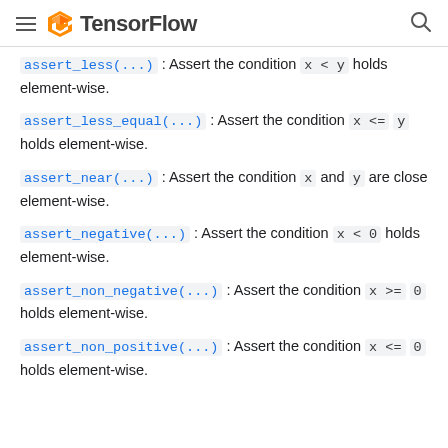TensorFlow
assert_less(...) : Assert the condition x < y holds element-wise.
assert_less_equal(...) : Assert the condition x <= y holds element-wise.
assert_near(...) : Assert the condition x and y are close element-wise.
assert_negative(...) : Assert the condition x < 0 holds element-wise.
assert_non_negative(...) : Assert the condition x >= 0 holds element-wise.
assert_non_positive(...) : Assert the condition x <= 0 holds element-wise.